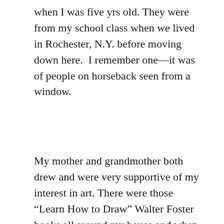when I was five yrs old. They were from my school class when we lived in Rochester, N.Y. before moving down here.  I remember one—it was of people on horseback seen from a window.
My mother and grandmother both drew and were very supportive of my interest in art. There were those “Learn How to Draw” Walter Foster books all around my house and when my